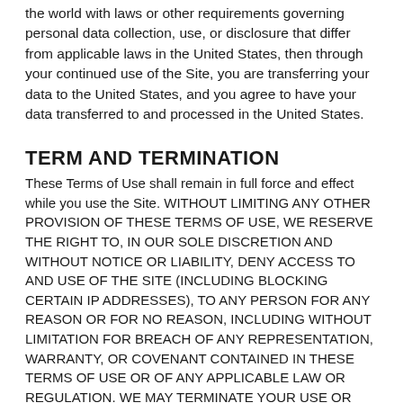the world with laws or other requirements governing personal data collection, use, or disclosure that differ from applicable laws in the United States, then through your continued use of the Site, you are transferring your data to the United States, and you agree to have your data transferred to and processed in the United States.
TERM AND TERMINATION
These Terms of Use shall remain in full force and effect while you use the Site. WITHOUT LIMITING ANY OTHER PROVISION OF THESE TERMS OF USE, WE RESERVE THE RIGHT TO, IN OUR SOLE DISCRETION AND WITHOUT NOTICE OR LIABILITY, DENY ACCESS TO AND USE OF THE SITE (INCLUDING BLOCKING CERTAIN IP ADDRESSES), TO ANY PERSON FOR ANY REASON OR FOR NO REASON, INCLUDING WITHOUT LIMITATION FOR BREACH OF ANY REPRESENTATION, WARRANTY, OR COVENANT CONTAINED IN THESE TERMS OF USE OR OF ANY APPLICABLE LAW OR REGULATION. WE MAY TERMINATE YOUR USE OR PARTICIPATION IN THE SITE OR DELETE YOUR ACCOUNT AND ANY CONTENT OR INFORMATION THAT YOU POSTED AT ANY TIME,